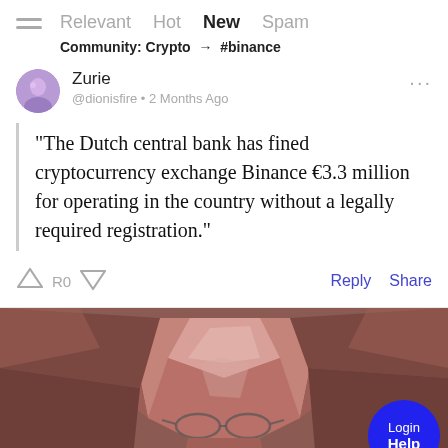Relevant Hot New Spam
Community: Crypto → #binance
Zurie @dionisfire • 2 Months Ago
“The Dutch central bank has fined cryptocurrency exchange Binance €3.3 million for operating in the country without a legally required registration.”
R0  Reply  Share
[Figure (photo): Partial face of a bald man with glasses, polygonal low-poly illustration style, on a muted rose/brown background. Blue circular Login/Help button overlaid at bottom right.]